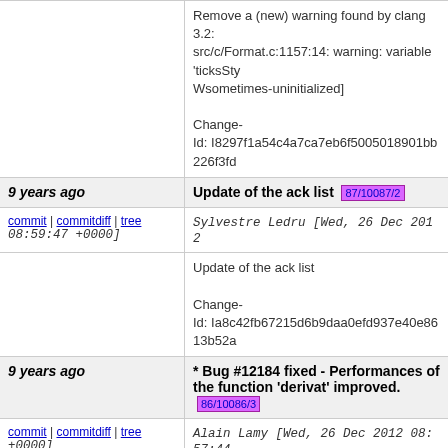Remove a (new) warning found by clang 3.2: src/c/Format.c:1157:14: warning: variable 'ticksSty Wsometimes-uninitialized]

Change-Id: I8297f1a54c4a7ca7eb6f5005018901bb226f3fd
9 years ago  Update of the ack list  87/10087/2
commit | commitdiff | tree  Sylvestre Ledru [Wed, 26 Dec 2012 08:59:47 +0000]
Update of the ack list

Change-Id: Ia8c42fb67215d6b9daa0efd937e40e8613b52a
9 years ago  * Bug #12184 fixed - Performances of the function 'derivat' improved.  86/10086/3
commit | commitdiff | tree  Alain Lamy [Wed, 26 Dec 2012 08:57:44 +0000]
* Bug #12184 fixed - Performances of the function

Change-Id: I6c3e6c25e03f2e639acc780666b0a7cea4f3129